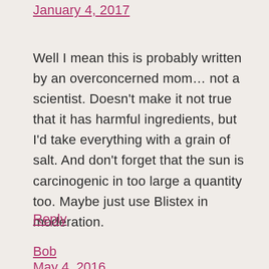January 4, 2017
Well I mean this is probably written by an overconcerned mom… not a scientist. Doesn't make it not true that it has harmful ingredients, but I'd take everything with a grain of salt. And don't forget that the sun is carcinogenic in too large a quantity too. Maybe just use Blistex in moderation.
Reply
Bob
May 4, 2016